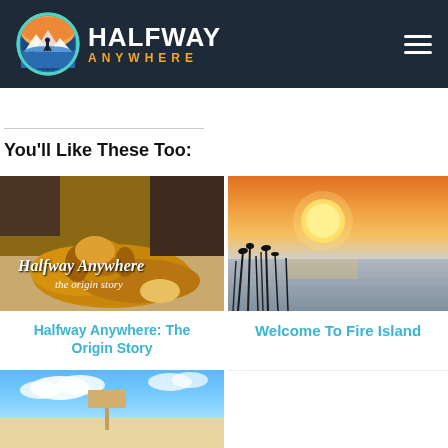[Figure (logo): Halfway Anywhere website header with circular mountain/hiker logo, site name 'HALFWAY ANYWHERE' and hamburger menu icon on dark navy background]
You'll Like These Too:
[Figure (photo): Photo of a dog lying down with text overlay reading 'Halfway Anywhere the origin story']
Halfway Anywhere: The Origin Story
[Figure (photo): Sunset over water with silhouetted grass/reeds in foreground, orange and golden sky]
Welcome To Fire Island
[Figure (photo): Partial photo showing blue sky and white sandy beach scene, cut off at bottom of page]